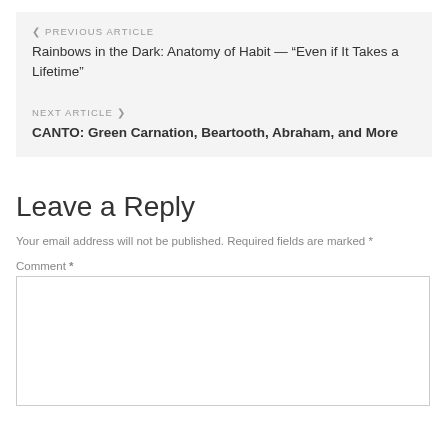PREVIOUS ARTICLE
Rainbows in the Dark: Anatomy of Habit — “Even if It Takes a Lifetime”
NEXT ARTICLE
CANTO: Green Carnation, Beartooth, Abraham, and More
Leave a Reply
Your email address will not be published. Required fields are marked *
Comment *